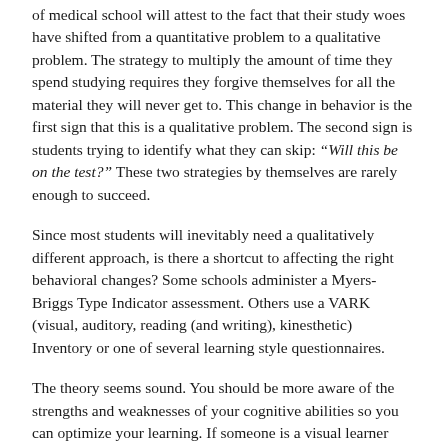of medical school will attest to the fact that their study woes have shifted from a quantitative problem to a qualitative problem. The strategy to multiply the amount of time they spend studying requires they forgive themselves for all the material they will never get to. This change in behavior is the first sign that this is a qualitative problem. The second sign is students trying to identify what they can skip: “Will this be on the test?” These two strategies by themselves are rarely enough to succeed.
Since most students will inevitably need a qualitatively different approach, is there a shortcut to affecting the right behavioral changes? Some schools administer a Myers-Briggs Type Indicator assessment. Others use a VARK (visual, auditory, reading (and writing), kinesthetic) Inventory or one of several learning style questionnaires.
The theory seems sound. You should be more aware of the strengths and weaknesses of your cognitive abilities so you can optimize your learning. If someone is a visual learner then they should transform their reading into pictures or diagrams. They